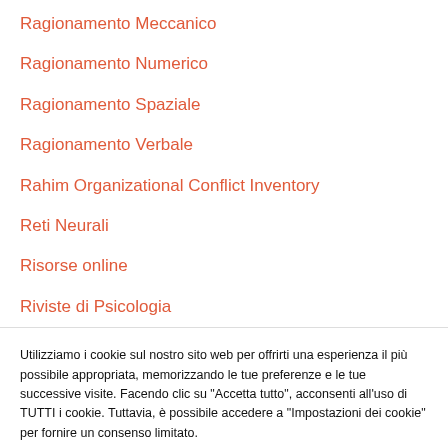Ragionamento Meccanico
Ragionamento Numerico
Ragionamento Spaziale
Ragionamento Verbale
Rahim Organizational Conflict Inventory
Reti Neurali
Risorse online
Riviste di Psicologia
Utilizziamo i cookie sul nostro sito web per offrirti una esperienza il più possibile appropriata, memorizzando le tue preferenze e le tue successive visite. Facendo clic su "Accetta tutto", acconsenti all'uso di TUTTI i cookie. Tuttavia, è possibile accedere a "Impostazioni dei cookie" per fornire un consenso limitato.
Impostazioni dei cookies | Accetta tutto